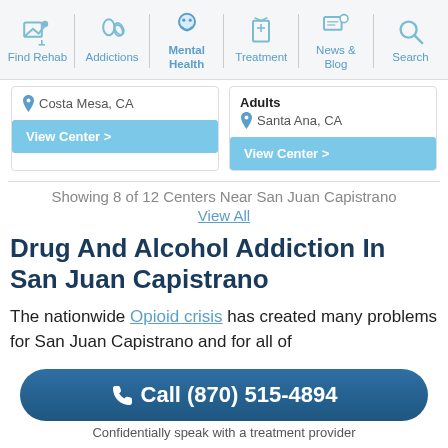Find Rehab | Addictions | Mental Health | Treatment | News & Blog | Search
Costa Mesa, CA
Adults
Santa Ana, CA
View Center >
View Center >
Showing 8 of 12 Centers Near San Juan Capistrano
View All
Drug And Alcohol Addiction In San Juan Capistrano
The nationwide Opioid crisis has created many problems for San Juan Capistrano and for all of
Call (870) 515-4894
Confidentially speak with a treatment provider